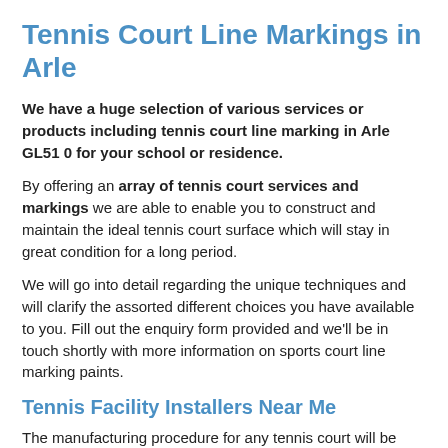Tennis Court Line Markings in Arle
We have a huge selection of various services or products including tennis court line marking in Arle GL51 0 for your school or residence.
By offering an array of tennis court services and markings we are able to enable you to construct and maintain the ideal tennis court surface which will stay in great condition for a long period.
We will go into detail regarding the unique techniques and will clarify the assorted different choices you have available to you. Fill out the enquiry form provided and we'll be in touch shortly with more information on sports court line marking paints.
Tennis Facility Installers Near Me
The manufacturing procedure for any tennis court will be different in length because of a number of different factors.
There are a number of variables and extra features which can be